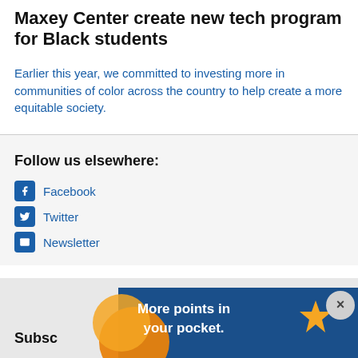Maxey Center create new tech program for Black students
Earlier this year, we committed to investing more in communities of color across the country to help create a more equitable society.
Follow us elsewhere:
Facebook
Twitter
Newsletter
Subsc...
[Figure (infographic): Advertisement banner: 'More points in your pocket.' with orange circle and star graphic on blue background, close button (×)]